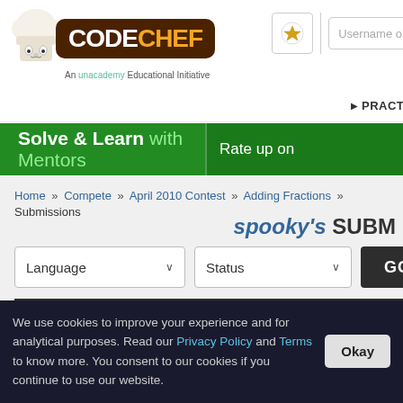[Figure (logo): CodeChef logo with chef hat illustration and brown rounded rectangle with CODECHEF text, tagline 'An unacademy Educational Initiative']
Username o | PRACTICE | C
[Figure (infographic): Green banner: Solve & Learn with Mentors | Rate up on ...]
Home » Compete » April 2010 Contest » Adding Fractions » Submissions
spooky's SUBM
Language ∨  Status ∨  GO
| ID | Date/Time | Username |
| --- | --- | --- |
We use cookies to improve your experience and for analytical purposes. Read our Privacy Policy and Terms to know more. You consent to our cookies if you continue to use our website.